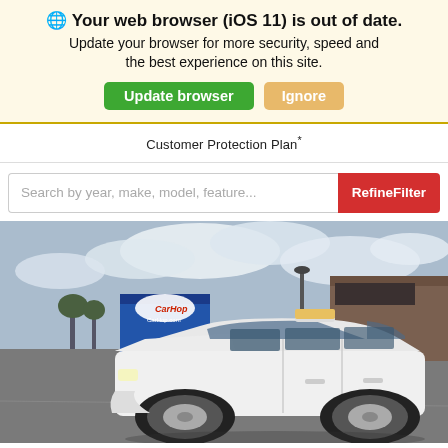🌐 Your web browser (iOS 11) is out of date. Update your browser for more security, speed and the best experience on this site. Update browser | Ignore
Customer Protection Plan*
Search by year, make, model, feature...  RefineFilter
[Figure (photo): White Ford Edge SUV parked in front of a CarHop dealership lot. The CarHop sign and building are visible in the background along with other vehicles and a partly cloudy sky.]